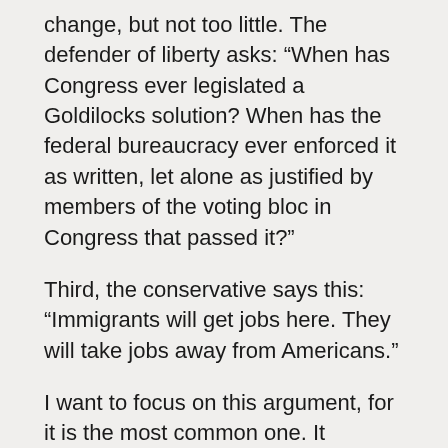change, but not too little. The defender of liberty asks: “When has Congress ever legislated a Goldilocks solution? When has the federal bureaucracy ever enforced it as written, let alone as justified by members of the voting bloc in Congress that passed it?”
Third, the conservative says this: “Immigrants will get jobs here. They will take jobs away from Americans.”
I want to focus on this argument, for it is the most common one. It invokes nationalism over liberty. It equates nationalism with restrictions on the freedom of contract. It says: “Not everyone should have the legal right to bid on jobs inside our borders. Only those who are legally inside our borders already, or who will be born to those already inside our borders, should possess this right.” It says: “Our ancestors go